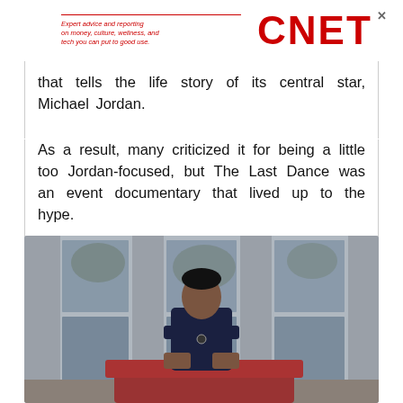Expert advice and reporting on money, culture, wellness, and tech you can put to good use. CNET
that tells the life story of its central star, Michael Jordan.
As a result, many criticized it for being a little too Jordan-focused, but The Last Dance was an event documentary that lived up to the hype.
[Figure (photo): Person sitting and speaking in front of large windows with trees visible outside, seated on a red couch]